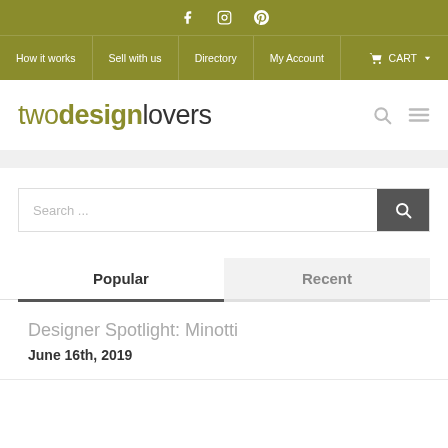Social icons: Facebook, Instagram, Pinterest
Navigation: How it works | Sell with us | Directory | My Account | CART
twodesignlovers
Search ...
Popular
Recent
Designer Spotlight: Minotti
June 16th, 2019